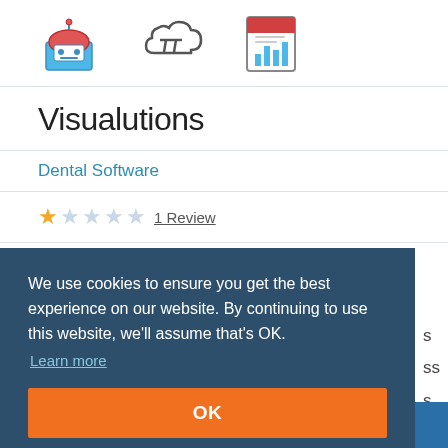[Figure (illustration): Three product/software icons: a robot/machine icon with red top, a cloud with pi symbol, and a report/chart icon]
Visualutions
Dental Software
★☆☆☆☆ 1 Review
We use cookies to ensure you get the best experience on our website. By continuing to use this website, we'll assume that's OK.
Learn more
OK